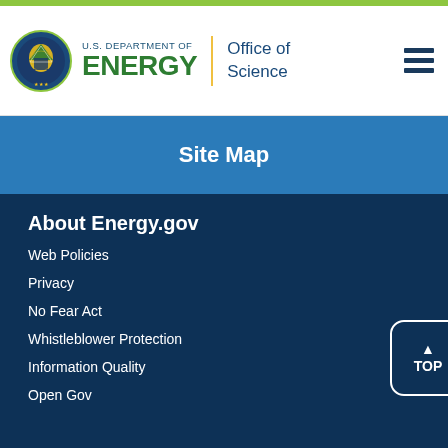[Figure (logo): U.S. Department of Energy Office of Science logo with DOE seal, ENERGY wordmark in green, and Office of Science text]
Site Map
About Energy.gov
Web Policies
Privacy
No Fear Act
Whistleblower Protection
Information Quality
Open Gov